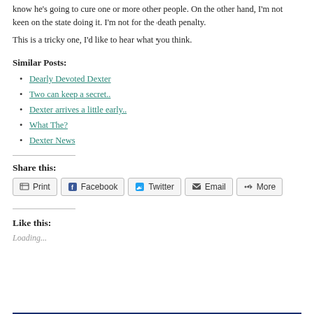know he's going to cure one or more other people. On the other hand, I'm not keen on the state doing it. I'm not for the death penalty.
This is a tricky one, I'd like to hear what you think.
Similar Posts:
Dearly Devoted Dexter
Two can keep a secret..
Dexter arrives a little early..
What The?
Dexter News
Share this:
Print  Facebook  Twitter  Email  More
Like this:
Loading...